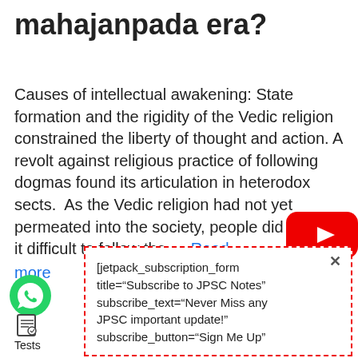mahajanpada era?
Causes of intellectual awakening: State formation and the rigidity of the Vedic religion constrained the liberty of thought and action. A revolt against religious practice of following dogmas found its articulation in heterodox sects.  As the Vedic religion had not yet permeated into the society, people did not find it difficult to follow the … Read more
[Figure (other): YouTube play button icon (red rounded rectangle with white play triangle)]
[jetpack_subscription_form title="Subscribe to JPSC Notes" subscribe_text="Never Miss any JPSC important update!" subscribe_button="Sign Me Up"
[Figure (other): WhatsApp green phone icon]
Tests